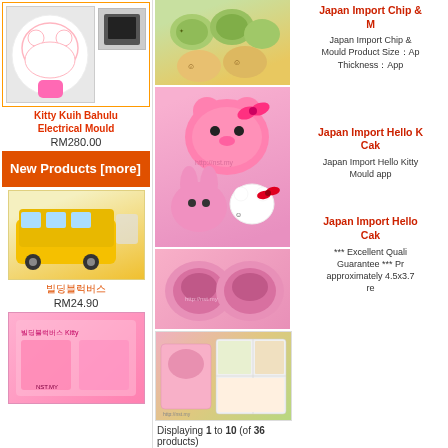[Figure (photo): Hello Kitty Kuih Bahulu Electrical Mould product image with small thumbnail]
Kitty Kuih Bahulu Electrical Mould
RM280.00
New Products  [more]
[Figure (photo): Yellow school bus shaped product box with colorful toys]
빌딩블럭버스
RM24.90
[Figure (photo): Hello Kitty pink product packaging]
[Figure (photo): Japan Import Chip & cookie mould product - green and biscuit colored molds]
Japan Import Chip & M
Japan Import Chip & Mould Product Size：Ap Thickness：App
[Figure (photo): Japan Import Hello Kitty pink silicone cake moulds - kitty face, bunny, and kitty figure]
Japan Import Hello K Cak
Japan Import Hello Kitty Mould app
[Figure (photo): Japan Import Hello Kitty round pink silicone cake molds and bento box]
Japan Import Hello Cak
*** Excellent Quali Guarantee *** Pr approximately 4.5x3.7 re
Displaying 1 to 10 (of 36 products)